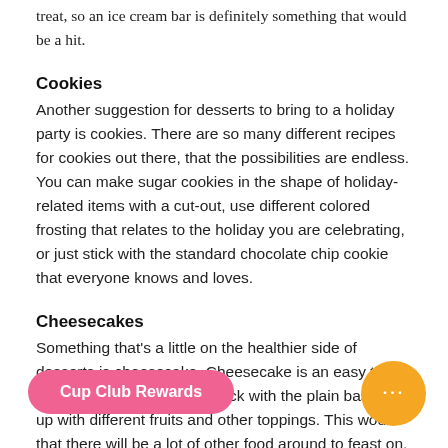treat, so an ice cream bar is definitely something that would be a hit.
Cookies
Another suggestion for desserts to bring to a holiday party is cookies. There are so many different recipes for cookies out there, that the possibilities are endless. You can make sugar cookies in the shape of holiday-related items with a cut-out, use different colored frosting that relates to the holiday you are celebrating, or just stick with the standard chocolate chip cookie that everyone knows and loves.
Cheesecakes
Something that’s a little on the healthier side of desserts is cheesecake. Cheesecake is an easy treat to bring because you can stick with the plain base and up with different fruits and other toppings. This wou w that there will be a lot of other food around to feast on. It’s a lighter dessert than most